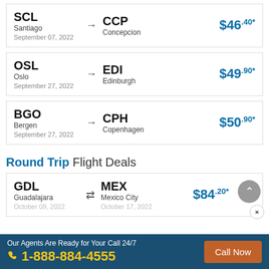SCL Santiago September 07, 2022 → CCP Concepcion $46.40*
OSL Oslo September 27, 2022 → EDI Edinburgh $49.90*
BGO Bergen September 27, 2022 → CPH Copenhagen $50.90*
Round Trip Flight Deals
GDL Guadalajara October 09, 2022 ⇄ MEX Mexico City October 17, 2022 $84.20*
Our Agents Are Ready for Your Call 24/7  1-888-884-4555  Call Now